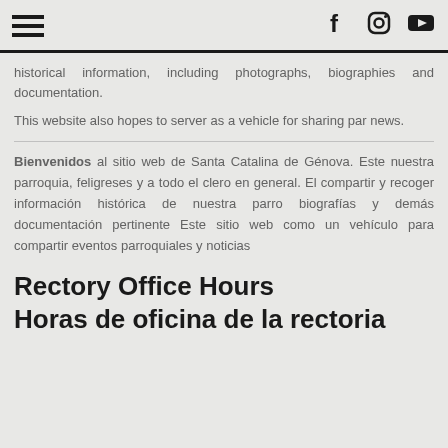[hamburger menu] [Facebook] [Instagram] [YouTube]
historical information, including photographs, biographies and documentation.
This website also hopes to server as a vehicle for sharing par news.
Bienvenidos al sitio web de Santa Catalina de Génova. Este nuestra parroquia, feligreses y a todo el clero en general. El compartir y recoger información histórica de nuestra parro biografías y demás documentación pertinente Este sitio web como un vehículo para compartir eventos parroquiales y noticias
Rectory Office Hours
Horas de oficina de la rectoria